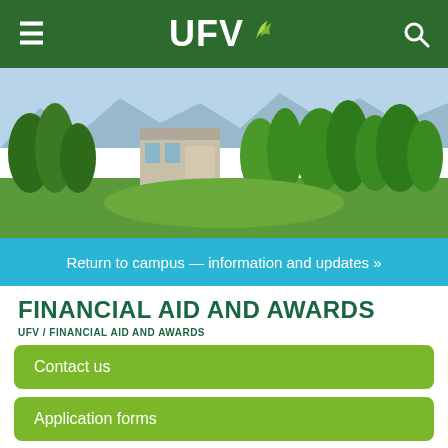UFV — Financial Aid and Awards
[Figure (photo): Campus aerial/landscape photo showing university buildings, trees, and mountains in background]
Return to campus — information and updates »
FINANCIAL AID AND AWARDS
UFV / FINANCIAL AID AND AWARDS
Contact us
Application forms
Student Aid BC